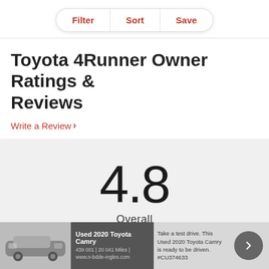Filter | Sort | Save
Toyota 4Runner Owner Ratings & Reviews
Write a Review >
4.8 Overall
20 Reviews
View All >
[Figure (other): Advertisement banner for Used 2020 Toyota Camry with car image, text 'Take a test drive. This Used 2020 Toyota Camry is ready to be driven. #CU374633', and a circular arrow button.]